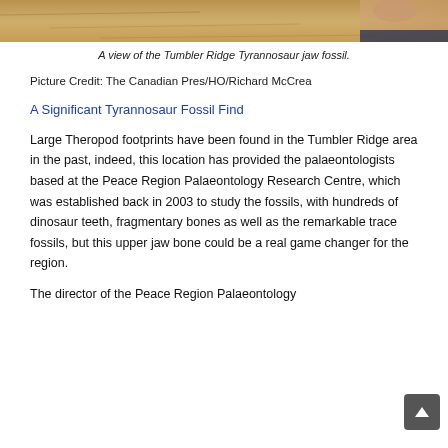[Figure (photo): Top portion of a photo showing the Tumbler Ridge Tyrannosaur jaw fossil with rock/stone background and a hand visible in the upper right.]
A view of the Tumbler Ridge Tyrannosaur jaw fossil.
Picture Credit: The Canadian Pres/HO/Richard McCrea
A Significant Tyrannosaur Fossil Find
Large Theropod footprints have been found in the Tumbler Ridge area in the past, indeed, this location has provided the palaeontologists based at the Peace Region Palaeontology Research Centre, which was established back in 2003 to study the fossils, with hundreds of dinosaur teeth, fragmentary bones as well as the remarkable trace fossils, but this upper jaw bone could be a real game changer for the region.
The director of the Peace Region Palaeontology